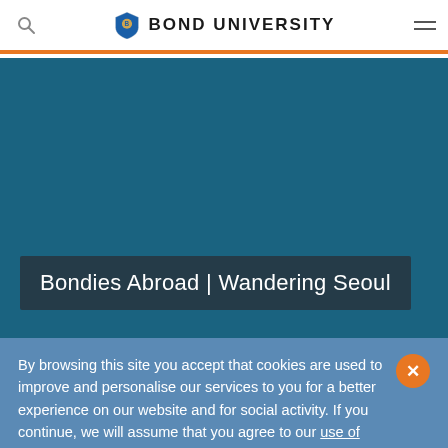Bond University — navigation header with search icon, logo, and menu icon
[Figure (photo): Hero banner with solid teal/dark blue background representing a page hero image area]
Bondies Abroad | Wandering Seoul
By browsing this site you accept that cookies are used to improve and personalise our services to you for a better experience on our website and for social activity. If you continue, we will assume that you agree to our use of cookies statement.